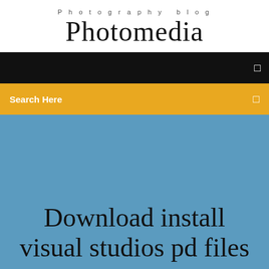Photography blog
Photomedia
[Figure (screenshot): Black navigation bar with small white icon on the right]
Search Here
Download install visual studios pd files